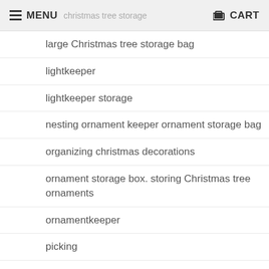MENU  christmas tree storage  CART
large Christmas tree storage bag
lightkeeper
lightkeeper storage
nesting ornament keeper ornament storage bag
organizing christmas decorations
ornament storage box. storing Christmas tree ornaments
ornamentkeeper
picking
pull-up christmas tree
pull-up christmas tree bag
pull-up christmas tree storage
real vs. artificial Christmas trees
recycling